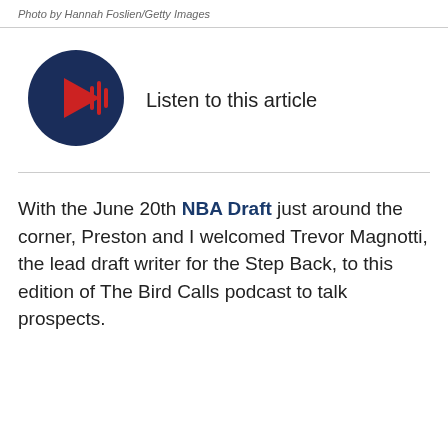Photo by Hannah Foslien/Getty Images
[Figure (other): Audio player button: dark navy circle with red play arrow and red sound wave bars icon]
Listen to this article
With the June 20th NBA Draft just around the corner, Preston and I welcomed Trevor Magnotti, the lead draft writer for the Step Back, to this edition of The Bird Calls podcast to talk prospects.